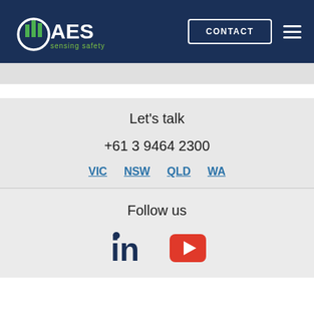[Figure (logo): AES sensing safety logo — white arc with green bar chart bars, text AES in white, sensing safety in green, on dark navy background]
CONTACT
Let's talk
+61 3 9464 2300
VIC   NSW   QLD   WA
Follow us
[Figure (logo): LinkedIn icon and YouTube icon]